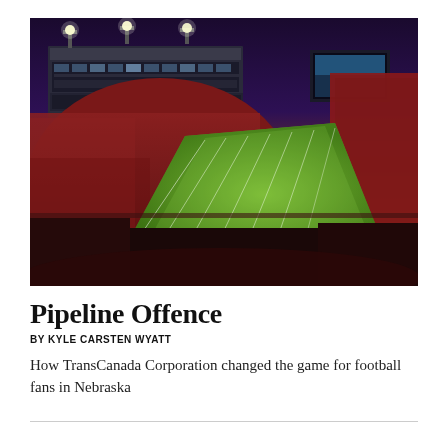[Figure (photo): Aerial view of a packed college football stadium at dusk/night. The stands are filled with fans wearing red, the field is brightly lit green with yard lines visible, and a large stadium structure with luxury boxes and floodlights is visible in the upper left. The sky is a dramatic gradient of deep blue and purple with warm sunset tones.]
Pipeline Offence
BY KYLE CARSTEN WYATT
How TransCanada Corporation changed the game for football fans in Nebraska